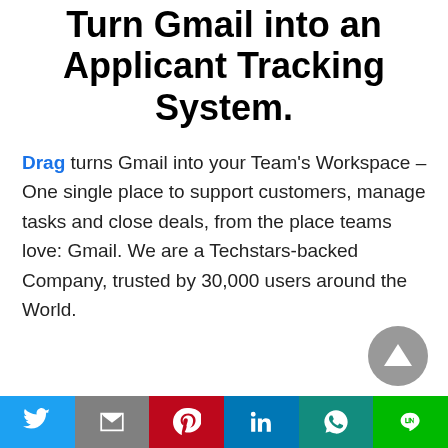Turn Gmail into an Applicant Tracking System.
Drag turns Gmail into your Team's Workspace – One single place to support customers, manage tasks and close deals, from the place teams love: Gmail. We are a Techstars-backed Company, trusted by 30,000 users around the World.
Try Drag for Free
[Figure (other): Social sharing bar with Twitter, Gmail, Pinterest, LinkedIn, WhatsApp, and Line buttons]